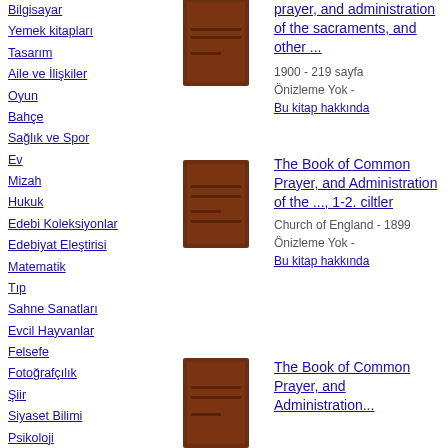Bilgisayar
Yemek kitapları
Tasarım
Aile ve İlişkiler
Oyun
Bahçe
Sağlık ve Spor
Ev
Mizah
Hukuk
Edebi Koleksiyonlar
Edebiyat Eleştirisi
Matematik
Tıp
Sahne Sanatları
Evcil Hayvanlar
Felsefe
Fotoğrafçılık
Şiir
Siyaset Bilimi
Psikoloji
Din
Kişisel Gelişim
[Figure (photo): Book cover - dark brown book]
prayer, and administration of the sacraments, and other ...
1900 - 219 sayfa
Önizleme Yok -
Bu kitap hakkında
[Figure (photo): Book cover - dark brown book]
The Book of Common Prayer, and Administration of the ..., 1-2. ciltler
Church of England - 1899
Önizleme Yok -
Bu kitap hakkında
[Figure (photo): Book cover - dark brown book]
The Book of Common Prayer, and Administration...